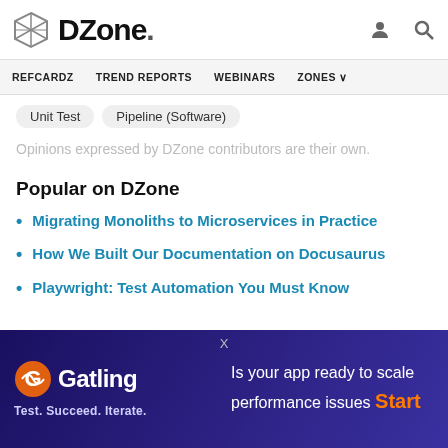DZone. [user icon] [search icon]
REFCARDZ   TREND REPORTS   WEBINARS   ZONES ∨
Unit Test
Pipeline (Software)
Opinions expressed by DZone contributors are their own.
Popular on DZone
Migrating Monoliths to Microservices in Practice
How We Built Our Documentation on Docusaurus
Playwright: Test Automation You Must Know
[Figure (advertisement): Gatling advertisement banner: 'Test. Succeed. Iterate.' with text 'Is your app ready to scale performance issues Start']